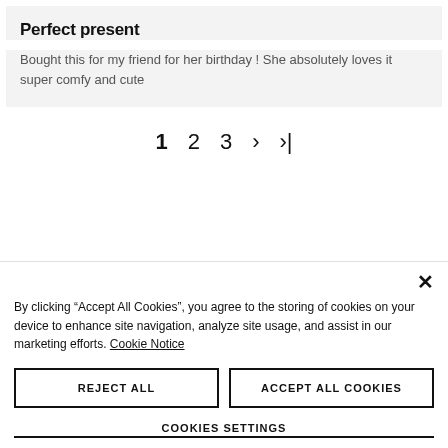Perfect present
Bought this for my friend for her birthday ! She absolutely loves it super comfy and cute
1  2  3  ›  ›|
By clicking “Accept All Cookies”, you agree to the storing of cookies on your device to enhance site navigation, analyze site usage, and assist in our marketing efforts. Cookie Notice
REJECT ALL
ACCEPT ALL COOKIES
COOKIES SETTINGS